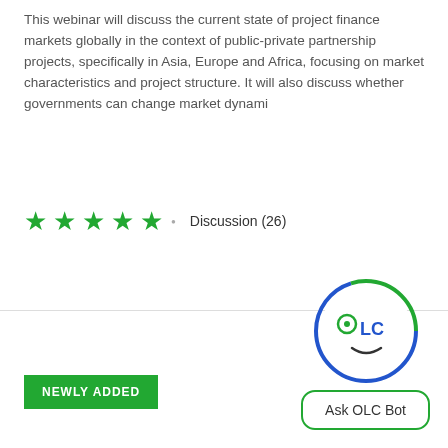This webinar will discuss the current state of project finance markets globally in the context of public-private partnership projects, specifically in Asia, Europe and Africa, focusing on market characteristics and project structure. It will also discuss whether governments can change market dynami
[Figure (other): 5 green stars rating followed by a small dot and the text 'Discussion (26)']
NEWLY ADDED
[Figure (illustration): OLC Bot icon: a circle with blue and green border containing a face with the text 'OLC' stylized as eyes and nose, with a smile. Below it a rounded rectangle button labeled 'Ask OLC Bot'.]